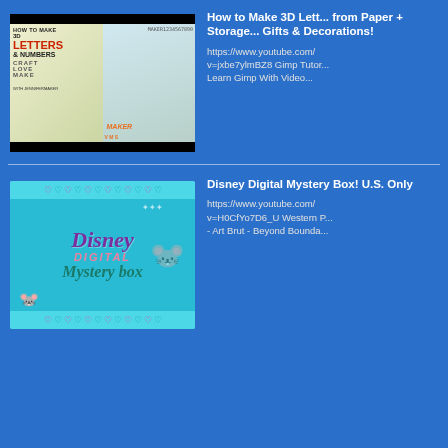[Figure (screenshot): Thumbnail for 'How to Make 3D Letters & Numbers' YouTube video by JenniferMaker, showing colorful 3D paper letters and a woman sitting at a table]
How to Make 3D Lett... from Paper + Storage... Gifts & Decorations!
https://www.youtube.com/... v=jxbe7ylmBZ8 Gimp Tutor... Learn Gimp With Video...
[Figure (screenshot): Thumbnail for Disney Digital Mystery Box YouTube video, showing Disney logo, Mickey Mouse, Minnie Mouse, and colorful teal background with pink Mickey head decorations]
Disney Digital Mystery Box! U.S. Only
https://www.youtube.com/... v=H0CfYo7D6_U Western P... - Art Brut - Beyond Bounda...